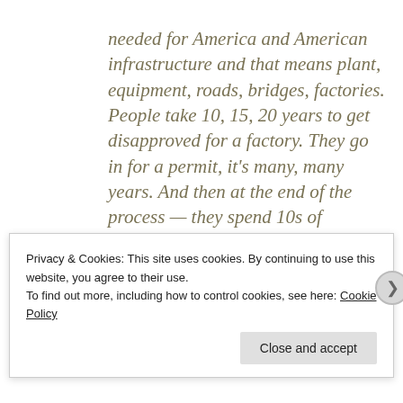needed for America and American infrastructure and that means plant, equipment, roads, bridges, factories. People take 10, 15, 20 years to get disapproved for a factory. They go in for a permit, it's many, many years. And then at the end of the process — they spend 10s of millions of dollars on nonsense and at the end of the process, they get rejected.
Privacy & Cookies: This site uses cookies. By continuing to use this website, you agree to their use.
To find out more, including how to control cookies, see here: Cookie Policy